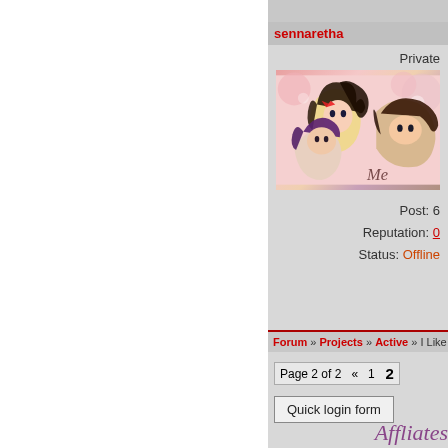sennaretha
Private
[Figure (illustration): Manga-style illustration of three anime characters with dark hair on a pink floral background]
Post: 6
Reputation: 0
Status: Offline
Forum » Projects » Active » I Like a Bea...
Page 2 of 2  «  1  2
Quick login form
Affliates